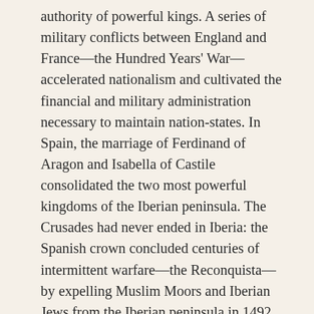authority of powerful kings. A series of military conflicts between England and France—the Hundred Years' War—accelerated nationalism and cultivated the financial and military administration necessary to maintain nation-states. In Spain, the marriage of Ferdinand of Aragon and Isabella of Castile consolidated the two most powerful kingdoms of the Iberian peninsula. The Crusades had never ended in Iberia: the Spanish crown concluded centuries of intermittent warfare—the Reconquista—by expelling Muslim Moors and Iberian Jews from the Iberian peninsula in 1492, just as Christopher Columbus sailed west. With new power, these new nations—and their newly empowered monarchs—yearned to access the wealth of Asia.